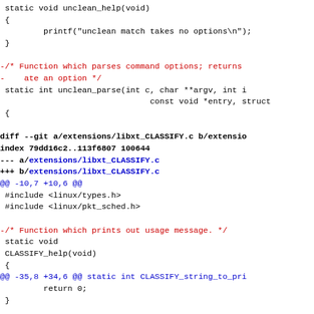diff --git code showing changes to libxt_UNCLEAN.c and libxt_CLASSIFY.c with removed lines (red) and context lines (blue/black)